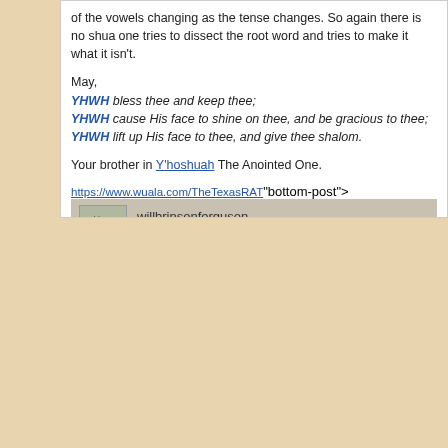of the vowels changing as the tense changes. So again there is no shu... one tries to dissect the root word and tries to make it what it isn't.
May,
YHWH bless thee and keep thee;
YHWH cause His face to shine on thee, and be gracious to thee;
YHWH lift up His face to thee, and give thee shalom.

Your brother in Y'hoshuah The Anointed One.
https://www.wuala.com/TheTexasRAT" onclick="window.open(this.href);return false;
willbrinsonferguson
Re: Numbers 13:16. Moshay changes the name הושע to יש
PostMon Aug 13, 2012 2:47 am
Full form: יהושוע - Yod, Hey, Vav, Shin, Vav, Ayin
Evidenced in the Dead Sea scrolls: Deuteronomy 3:21 (4Q40Deutm); (4Q47Josha)

Second form: יהושע - Yod, Hey, Vav, Shin, Ayin
Evidenced in the Dead Sea Scrolls: Exodus 17:13 & 14 (4Q14 Exodusd...